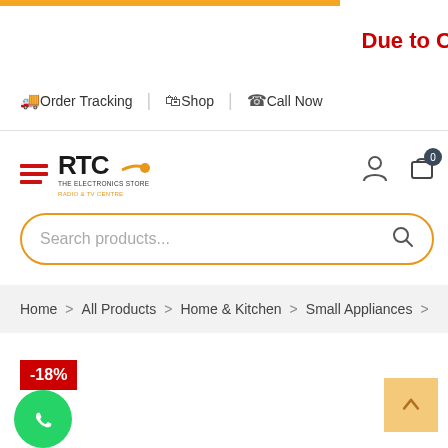Due to C
Order Tracking | Shop | Call Now
[Figure (logo): RTC The Electronics Store - Radio & TV Centre logo with hamburger menu icon]
Search products...
Home > All Products > Home & Kitchen > Small Appliances >
-18%
[Figure (other): WhatsApp contact button (green circle with phone handset icon)]
[Figure (other): Back to top button (tan/orange square with upward chevron)]